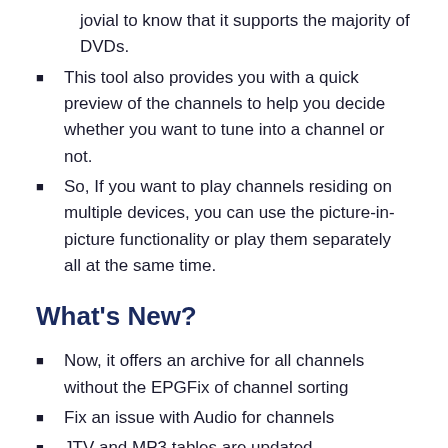jovial to know that it supports the majority of DVDs.
This tool also provides you with a quick preview of the channels to help you decide whether you want to tune into a channel or not.
So, If you want to play channels residing on multiple devices, you can use the picture-in-picture functionality or play them separately all at the same time.
What's New?
Now, it offers an archive for all channels without the EPGFix of channel sorting
Fix an issue with Audio for channels
JTV and MP3 tables are updated